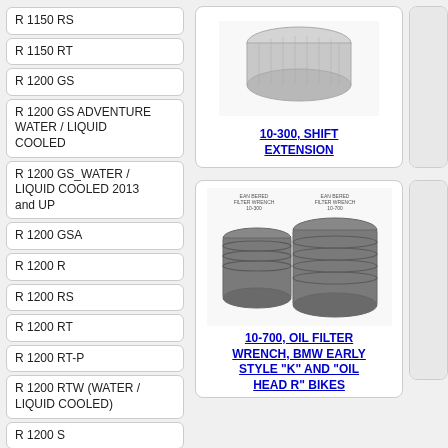R 1150 RS
R 1150 RT
R 1200 GS
R 1200 GS ADVENTURE WATER / LIQUID COOLED
R 1200 GS_WATER / LIQUID COOLED 2013 and UP
R 1200 GSA
R 1200 R
R 1200 RS
R 1200 RT
R 1200 RT-P
R 1200 RTW (WATER / LIQUID COOLED)
R 1200 S
R 1200 ST
R 1250 RT
[Figure (photo): Shift extension tool, cylindrical knurled metal piece, product 10-300]
10-300, SHIFT EXTENSION
[Figure (photo): Two oil filter wrenches shown side by side, BMW early style K and Oil Head R bikes, labeled 10-100 and 10-700]
10-700, OIL FILTER WRENCH, BMW EARLY STYLE "K" AND "OIL HEAD R" BIKES